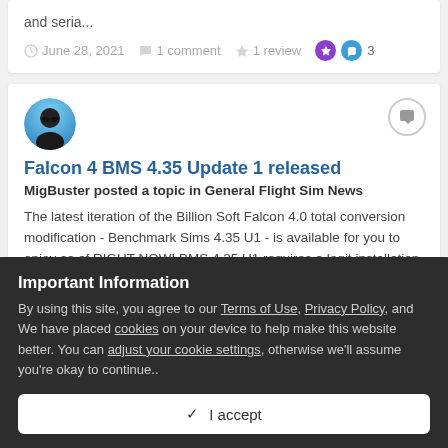and seria...
June 28, 2021  1 comment  1 review  3
[Figure (photo): User avatar: person wearing sunglasses with blue sky background]
Falcon 4 BMS 4.35 Update 1 released
MigBuster posted a topic in General Flight Sim News
The latest iteration of the Billion Soft Falcon 4.0 total conversion modification - Benchmark Sims 4.35 U1 - is available for you to enjoy as of RIGHT NOW! BMS 4.35 U1 requires a legit installation of...
Important Information
By using this site, you agree to our Terms of Use, Privacy Policy, and We have placed cookies on your device to help make this website better. You can adjust your cookie settings, otherwise we'll assume you're okay to continue..
✓  I accept